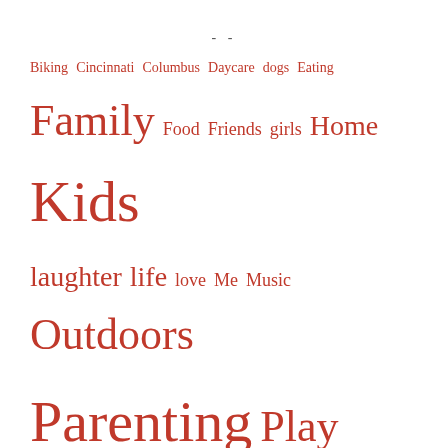- -
Biking  Cincinnati  Columbus  Daycare  dogs  Eating
Family  Food  Friends  girls  Home  Kids
laughter  life  love  Me  Music  Outdoors
Parenting  Play  Running  school  Travel
Uncategorized  Vacation  voting  Women  Women's Rights  Work
- EMAIL SUBSCRIPTION -
Enter your email address to subscribe to this blog and receive notifications of new posts by email.
Enter your email address